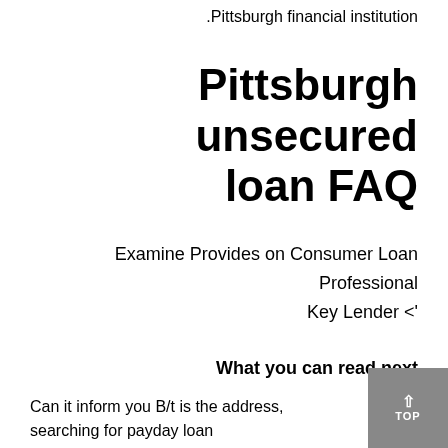.Pittsburgh financial institution
Pittsburgh unsecured loan FAQ
Examine Provides on Consumer Loan Professional Key Lender <'
What you can read next
Can it inform you B/t is the address, searching for payday loan